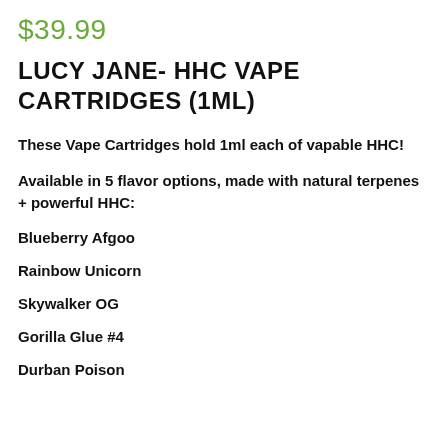$39.99
LUCY JANE- HHC VAPE CARTRIDGES (1ML)
These Vape Cartridges hold 1ml each of vapable HHC!
Available in 5 flavor options, made with natural terpenes + powerful HHC:
Blueberry Afgoo
Rainbow Unicorn
Skywalker OG
Gorilla Glue #4
Durban Poison